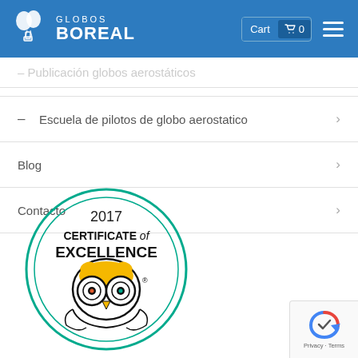GLOBOS BOREAL — Cart 0
– Publicación globos aerostáticos
– Escuela de pilotos de globo aerostatico
Blog
Contacto
[Figure (logo): TripAdvisor 2017 Certificate of Excellence badge with owl logo]
[Figure (logo): Google reCAPTCHA badge with Privacy and Terms links]